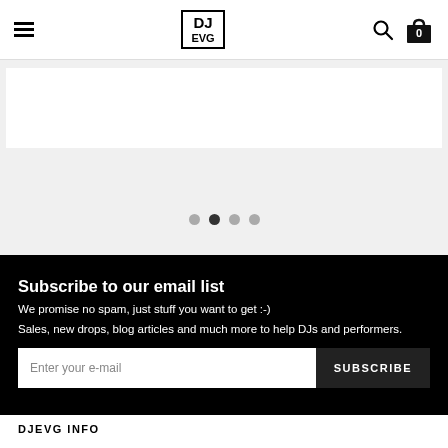DJ EVG — navigation header with hamburger menu, logo, search and cart icons
[Figure (screenshot): Carousel slider partial view showing white content area on light gray background with four navigation dots below]
Subscribe to our email list
We promise no spam, just stuff you want to get :-)
Sales, new drops, blog articles and much more to help DJs and performers.
Enter your e-mail  SUBSCRIBE
DJEVG INFO